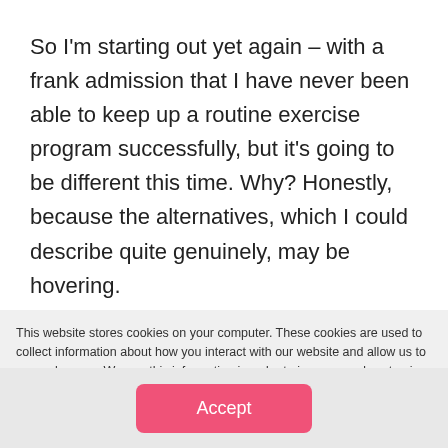So I'm starting out yet again – with a frank admission that I have never been able to keep up a routine exercise program successfully, but it's going to be different this time. Why? Honestly, because the alternatives, which I could describe quite genuinely, may be hovering.
This website stores cookies on your computer. These cookies are used to collect information about how you interact with our website and allow us to remember you. We use this information in order to improve and customize your browsing experience and for analytics and metrics about our visitors both on this website and other media. To find out more about the cookies we use, see our Privacy Policy.
Accept